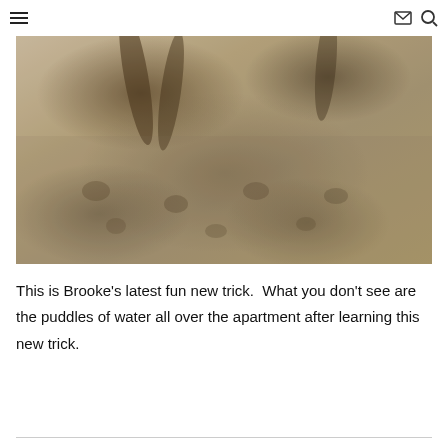≡  ✉ 🔍
[Figure (photo): Black and white / sepia-toned photo of what appears to be animal paw prints and legs/fur on sandy or wet ground, likely a dog playing or walking.]
This is Brooke's latest fun new trick.  What you don't see are the puddles of water all over the apartment after learning this new trick.